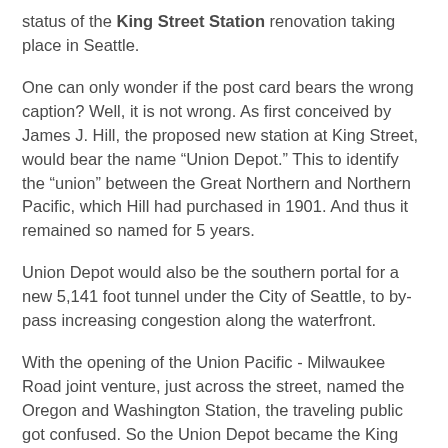status of the King Street Station renovation taking place in Seattle.
One can only wonder if the post card bears the wrong caption? Well, it is not wrong. As first conceived by James J. Hill, the proposed new station at King Street, would bear the name "Union Depot." This to identify the "union" between the Great Northern and Northern Pacific, which Hill had purchased in 1901. And thus it remained so named for 5 years.
Union Depot would also be the southern portal for a new 5,141 foot tunnel under the City of Seattle, to by-pass increasing congestion along the waterfront.
With the opening of the Union Pacific - Milwaukee Road joint venture, just across the street, named the Oregon and Washington Station, the traveling public got confused. So the Union Depot became the King Street Station and the Union Pacific Oregon and Washington Station was simply renamed Union Station, in 1911.